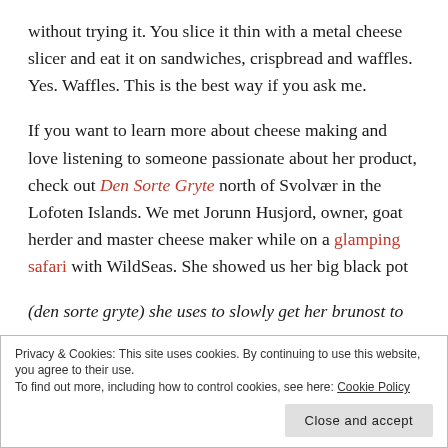without trying it. You slice it thin with a metal cheese slicer and eat it on sandwiches, crispbread and waffles. Yes. Waffles. This is the best way if you ask me.
If you want to learn more about cheese making and love listening to someone passionate about her product, check out Den Sorte Gryte north of Svolvær in the Lofoten Islands. We met Jorunn Husjord, owner, goat herder and master cheese maker while on a glamping safari with WildSeas. She showed us her big black pot (den sorte gryte) she uses to slowly get her brunost to
Privacy & Cookies: This site uses cookies. By continuing to use this website, you agree to their use. To find out more, including how to control cookies, see here: Cookie Policy
Close and accept